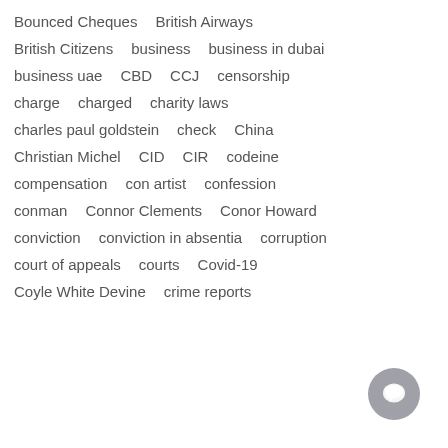Bounced Cheques  British Airways
British Citizens  business  business in dubai
business uae  CBD  CCJ  censorship
charge  charged  charity laws
charles paul goldstein  check  China
Christian Michel  CID  CIR  codeine
compensation  con artist  confession
conman  Connor Clements  Conor Howard
conviction  conviction in absentia  corruption
court of appeals  courts  Covid-19
Coyle White Devine  crime reports